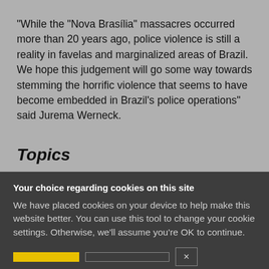“While the “Nova Brasília” massacres occurred more than 20 years ago, police violence is still a reality in favelas and marginalized areas of Brazil. We hope this judgement will go some way towards stemming the horrific violence that seems to have become embedded in Brazil’s police operations” said Jurema Werneck.
Topics
Your choice regarding cookies on this site
We have placed cookies on your device to help make this website better. You can use this tool to change your cookie settings. Otherwise, we'll assume you're OK to continue.